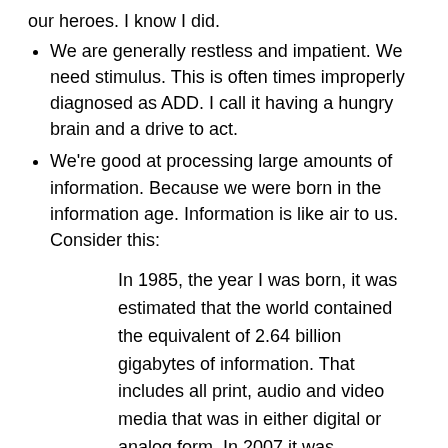our heroes. I know I did.
We are generally restless and impatient. We need stimulus. This is often times improperly diagnosed as ADD. I call it having a hungry brain and a drive to act.
We're good at processing large amounts of information. Because we were born in the information age. Information is like air to us. Consider this:
In 1985, the year I was born, it was estimated that the world contained the equivalent of 2.64 billion gigabytes of information. That includes all print, audio and video media that was in either digital or analog form. In 2007 it was estimated that the world contained just short of 300 billion gigabytes of information. If you think that's crazy, get this: in 2010 the amount of information in the world reached over 1